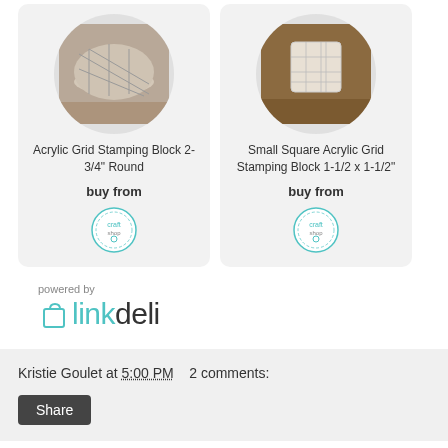[Figure (photo): Acrylic Grid Stamping Block 2-3/4 inch Round product image in circular frame]
Acrylic Grid Stamping Block 2-3/4" Round
buy from
[Figure (logo): Shop logo badge circular icon]
[Figure (photo): Small Square Acrylic Grid Stamping Block 1-1/2 x 1-1/2 inch product image in circular frame]
Small Square Acrylic Grid Stamping Block 1-1/2 x 1-1/2"
buy from
[Figure (logo): Shop logo badge circular icon]
powered by
[Figure (logo): linkdeli logo]
Kristie Goulet at 5:00 PM    2 comments:
Share
Thursday, June 20, 2019
HELLO